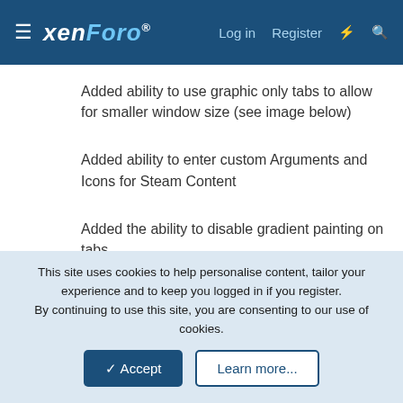xenForo  Log in  Register
Added ability to use graphic only tabs to allow for smaller window size (see image below)
Added ability to enter custom Arguments and Icons for Steam Content
Added the ability to disable gradient painting on tabs
Added support for game keys into UGL.INI - see the two examples in the INI file to figure out how it works
This site uses cookies to help personalise content, tailor your experience and to keep you logged in if you register.
By continuing to use this site, you are consenting to our use of cookies.